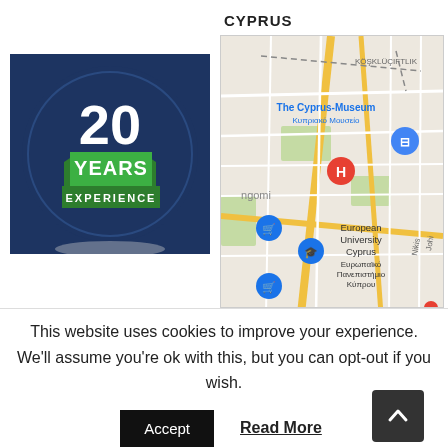[Figure (logo): 20 Years Experience badge — dark navy circular seal with green ribbon banner saying YEARS EXPERIENCE and large white '20' text]
[Figure (map): Google Maps screenshot of Cyprus area showing The Cyprus Museum, European University Cyprus, and street map with pins]
This website uses cookies to improve your experience. We'll assume you're ok with this, but you can opt-out if you wish.